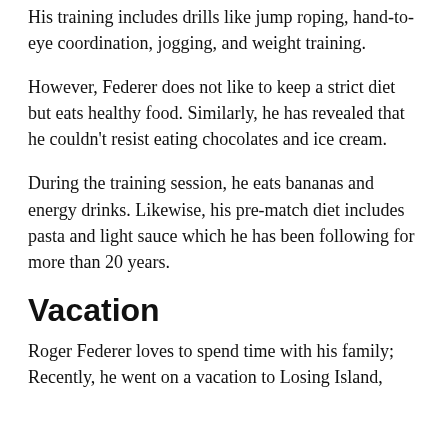His training includes drills like jump roping, hand-to-eye coordination, jogging, and weight training.
However, Federer does not like to keep a strict diet but eats healthy food. Similarly, he has revealed that he couldn’t resist eating chocolates and ice cream.
During the training session, he eats bananas and energy drinks. Likewise, his pre-match diet includes pasta and light sauce which he has been following for more than 20 years.
Vacation
Roger Federer loves to spend time with his family; Recently, he went on a vacation to Losing Island,